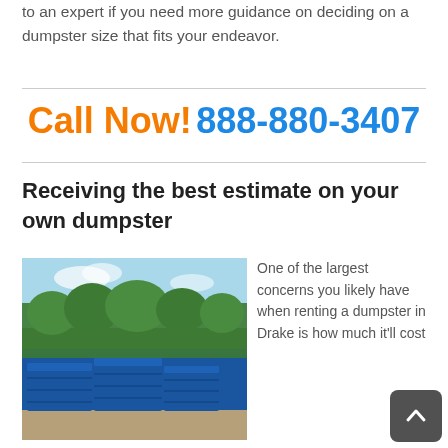to an expert if you need more guidance on deciding on a dumpster size that fits your endeavor.
Call Now! 888-880-3407
Receiving the best estimate on your own dumpster
[Figure (photo): Several large blue roll-off dumpsters parked in a gravel lot with green trees and blue sky in the background.]
One of the largest concerns you likely have when renting a dumpster in Drake is how much it'll cost